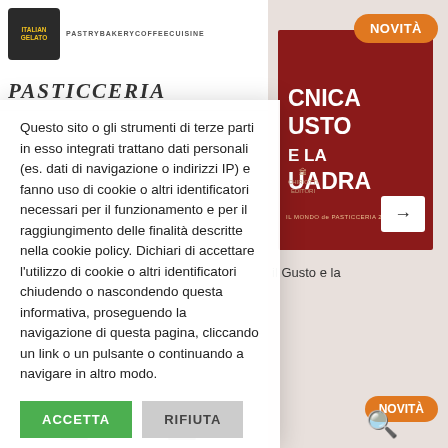[Figure (screenshot): Website header with Italian Gelato logo and PASTRYBAKERRYCOFFEECUISINE text, and site name PASTICCERIA]
[Figure (screenshot): Book cover card on right side showing NOVITA badge, red book cover with CNICA USTO UADRA title text, arrow button, and subtitle 'il Gusto e la']
Questo sito o gli strumenti di terze parti in esso integrati trattano dati personali (es. dati di navigazione o indirizzi IP) e fanno uso di cookie o altri identificatori necessari per il funzionamento e per il raggiungimento delle finalità descritte nella cookie policy. Dichiari di accettare l'utilizzo di cookie o altri identificatori chiudendo o nascondendo questa informativa, proseguendo la navigazione di questa pagina, cliccando un link o un pulsante o continuando a navigare in altro modo.
ACCETTA
RIFIUTA
Cookie Settings
[Figure (screenshot): Second NOVITA badge row at bottom right]
[Figure (screenshot): Search magnifying glass icon at bottom right]